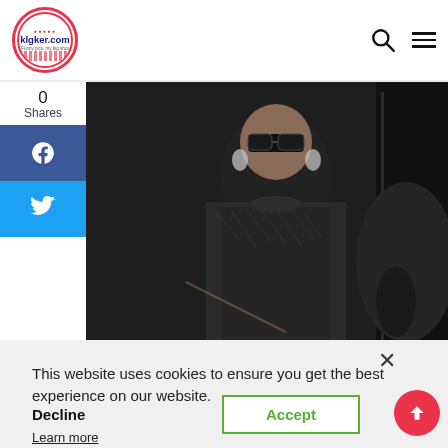klgker.com
[Figure (photo): Social share bar showing 0 Shares, Facebook and Twitter icons on left side]
[Figure (photo): Celebrity woman in dark textured outfit with sunglasses, arriving in a car at night event]
This website uses cookies to ensure you get the best experience on our website.
Learn more
Decline
Accept